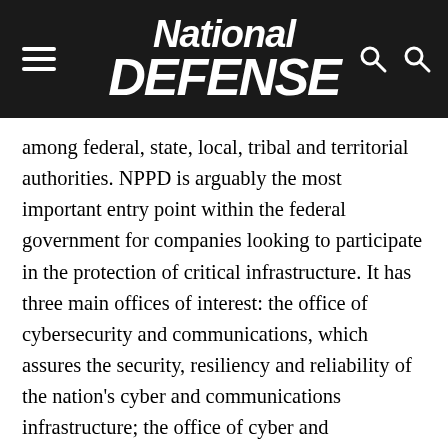National Defense
among federal, state, local, tribal and territorial authorities. NPPD is arguably the most important entry point within the federal government for companies looking to participate in the protection of critical infrastructure. It has three main offices of interest: the office of cybersecurity and communications, which assures the security, resiliency and reliability of the nation's cyber and communications infrastructure; the office of cyber and infrastructure analysis, which analyzes the potential impact of a cyber threat or incident to critical infrastructure; and the office of infrastructure protection, which leads the effort to